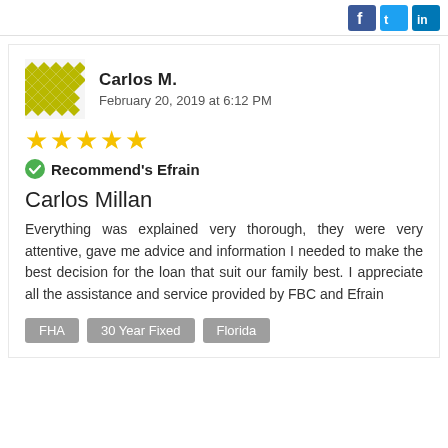[Social media share icons: Facebook, Twitter, LinkedIn]
Carlos M.
February 20, 2019 at 6:12 PM
[Figure (other): 5 gold star rating]
Recommend's Efrain
Carlos Millan
Everything was explained very thorough, they were very attentive, gave me advice and information I needed to make the best decision for the loan that suit our family best. I appreciate all the assistance and service provided by FBC and Efrain
FHA
30 Year Fixed
Florida